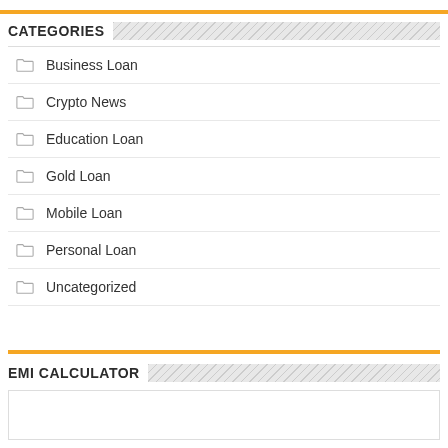CATEGORIES
Business Loan
Crypto News
Education Loan
Gold Loan
Mobile Loan
Personal Loan
Uncategorized
EMI CALCULATOR